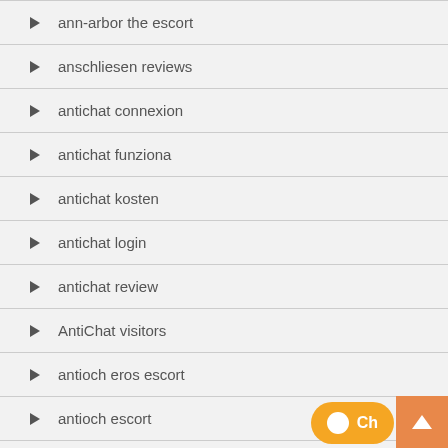ann-arbor the escort
anschliesen reviews
antichat connexion
antichat funziona
antichat kosten
antichat login
antichat review
AntiChat visitors
antioch eros escort
antioch escort
antioch escort radar